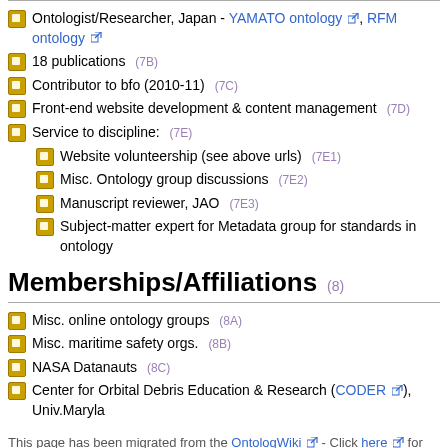Ontologist/Researcher, Japan - YAMATO ontology, RFM ontology
18 publications (7B)
Contributor to bfo (2010-11) (7C)
Front-end website development & content management (7D)
Service to discipline: (7E)
Website volunteership (see above urls) (7E1)
Misc. Ontology group discussions (7E2)
Manuscript reviewer, JAO (7E3)
Subject-matter expert for Metadata group for standards in ontology
Memberships/Affiliations (8)
Misc. online ontology groups (8A)
Misc. maritime safety orgs. (8B)
NASA Datanauts (8C)
Center for Orbital Debris Education & Research (CODER), Univ.Maryla
This page has been migrated from the OntologWiki - Click here for origin.
Category: Person